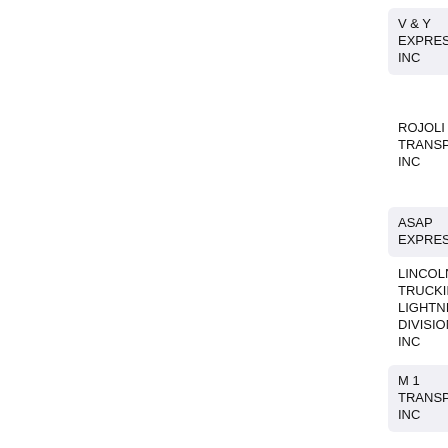V & Y EXPRESS INC
ROJOLI TRANSPORTATION INC
ASAP EXPRESS
LINCOLN TRUCKING LIGHTNING DIVISION INC
M 1 TRANSPORTATION INC
F1 EXPRESS
ON TIME TRANSPORT
LEROY E HISE TRUCKING INC
ADVANTAGE TRUCKING INC